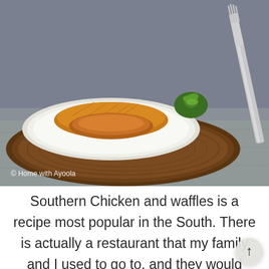[Figure (photo): Food photo showing a plate of golden chicken and waffles on a wooden board, garnished with green herbs, with a fork on the right side. A gray stone background is visible. Copyright text reads '© Home with Ayoola' at the bottom left of the image.]
© Home with Ayoola
Southern Chicken and waffles is a recipe most popular in the South. There is actually a restaurant that my family and I used to go to, and they would serve a chicken wing on a waffles. I always loved it but secr